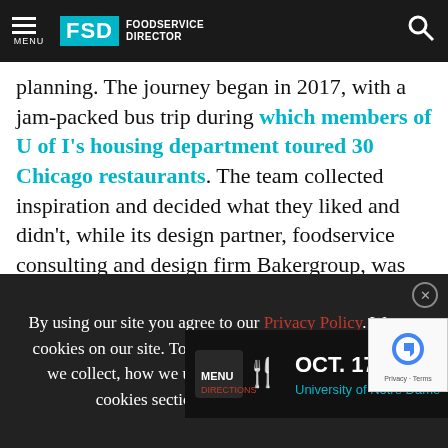MENU | FSD FOODSERVICE DIRECTOR
planning. The journey began in 2017, with a jam-packed bus trip during which members of U of I's housing department toured 30 Chicago restaurants. The team collected inspiration and decided what they liked and didn't, while its design partner, foodservice consulting and design firm Bakergroup, was on hand t...
[Figure (screenshot): Menu Directions advertisement banner: OCT. 17-19, 2022, University of Notre Dame, with Menu Directions logo on black background and gold/yellow accent]
By using our site you agree to our Privacy Policy. We use cookies on our site. To learn more about the information we collect, how we use it and your choices, visit the cookies section of our Privacy Policy.